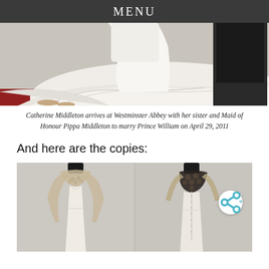MENU
[Figure (photo): Catherine Middleton's wedding dress train on red carpet at Westminster Abbey, with figure in dark suit visible behind]
Catherine Middleton arrives at Westminster Abbey with her sister and Maid of Honour Pippa Middleton to marry Prince William on April 29, 2011
And here are the copies:
[Figure (photo): Two views of a replica wedding dress with lace bodice and sleeves — front view showing V-neckline with floral lace overlay, and back view showing lace back panel with buttons down the spine]